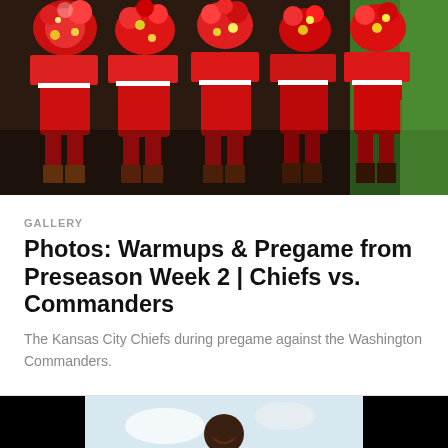[Figure (photo): Kansas City Chiefs cheerleaders in red uniforms holding red, white, and gold pom-poms during pregame warmups]
GALLERY
Photos: Warmups & Pregame from Preseason Week 2 | Chiefs vs. Commanders
The Kansas City Chiefs during pregame against the Washington Commanders.
[Figure (photo): A man in a black long-sleeve shirt smiling outdoors, with black borders on the left and right sides of the image]